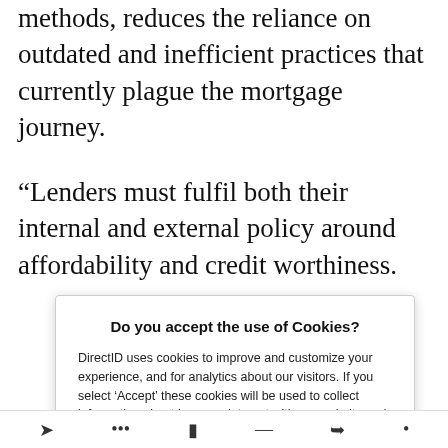methods, reduces the reliance on outdated and inefficient practices that currently plague the mortgage journey.
“Lenders must fulfil both their internal and external policy around affordability and credit worthiness.
[Figure (screenshot): Cookie consent modal overlay. Title: 'Do you accept the use of Cookies?'. Body text: 'DirectID uses cookies to improve and customize your experience, and for analytics about our visitors. If you select ‘Accept’ these cookies will be used to collect information about how you interact with our website and allow us to remember you. If you select ‘No thanks’ we will not track you but a single cookie will be stored in your browser to remember your preference. If you would like to know more see our Privacy Policy.' Two buttons: 'Accept cookies' (blue filled) and 'No thanks' (outlined).]
browser navigation bar icons